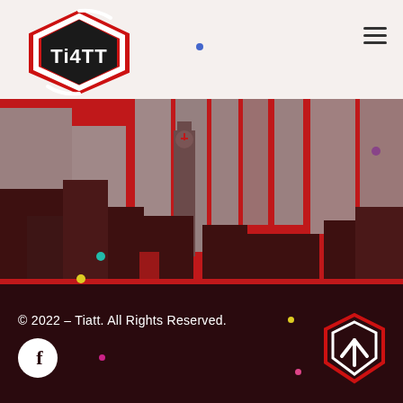[Figure (logo): Tiatt logo — hexagonal shape with red/black/white colors, shows stylized 'Ti4TT' text]
[Figure (illustration): City skyline illustration on red background with dark silhouetted buildings and colorful decorative dots]
© 2022 – Tiatt. All Rights Reserved.
[Figure (logo): Small Tiatt shield logo in bottom right, red and white on dark background]
[Figure (other): Facebook circular button (white circle with 'f' letter)]